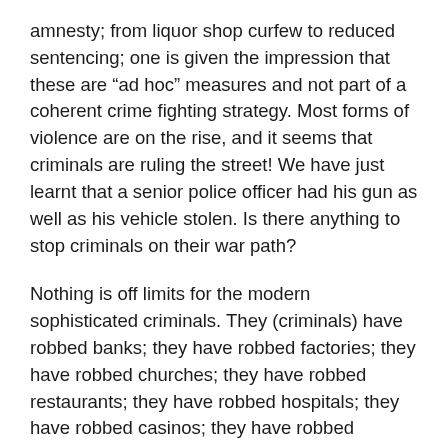amnesty; from liquor shop curfew to reduced sentencing; one is given the impression that these are “ad hoc” measures and not part of a coherent crime fighting strategy. Most forms of violence are on the rise, and it seems that criminals are ruling the street! We have just learnt that a senior police officer had his gun as well as his vehicle stolen. Is there anything to stop criminals on their war path?
Nothing is off limits for the modern sophisticated criminals. They (criminals) have robbed banks; they have robbed factories; they have robbed churches; they have robbed restaurants; they have robbed hospitals; they have robbed casinos; they have robbed numerous businesses; they have robbed offices, they have robbed chauffeurs and engaged in carjacking; and they have robbed the dead, too. The only place left to be robbed is the Guyana Parliament. These despicable acts speak to the audacity and indifference of the